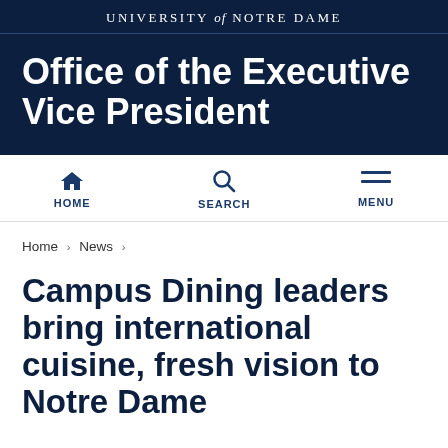UNIVERSITY of NOTRE DAME
Office of the Executive Vice President
HOME   SEARCH   MENU
Home › News ›
Campus Dining leaders bring international cuisine, fresh vision to Notre Dame